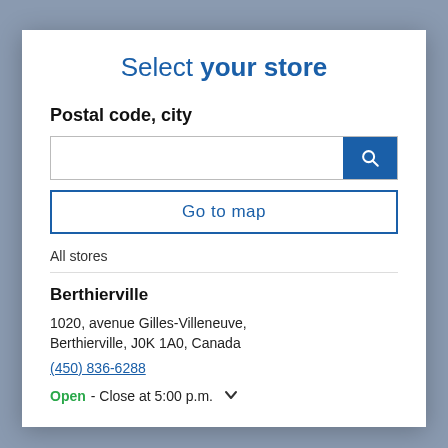Select your store
Postal code, city
[Figure (screenshot): Search input field with blue search button]
Go to map
All stores
Berthierville
1020, avenue Gilles-Villeneuve, Berthierville, J0K 1A0, Canada
(450) 836-6288
Open - Close at 5:00 p.m.